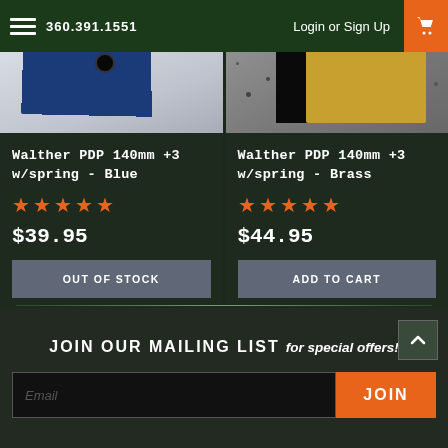360.391.1551   Login or Sign Up
[Figure (photo): Blue Walther PDP magazine extension product photo on white/gray background]
[Figure (photo): Brass Walther PDP magazine extension product photo on gray speckled background with black piece]
Walther PDP 140mm +3 w/spring - Blue
★★★★★
$39.95
OUT OF STOCK
Walther PDP 140mm +3 w/spring - Brass
★★★★★
$44.95
ADD TO CART
JOIN OUR MAILING LIST for special offers!